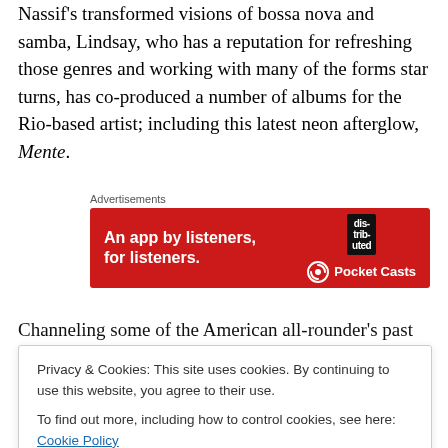Nassif's transformed visions of bossa nova and samba, Lindsay, who has a reputation for refreshing those genres and working with many of the forms star turns, has co-produced a number of albums for the Rio-based artist; including this latest neon afterglow, Mente.
[Figure (other): Advertisement banner for Pocket Casts app — red background, text 'An app by listeners, for listeners.' with Pocket Casts logo on the right and a dark 'distributed' block in the center-right.]
Channeling some of the American all-rounder's past productions, most notably his work with the legend
Privacy & Cookies: This site uses cookies. By continuing to use this website, you agree to their use. To find out more, including how to control cookies, see here: Cookie Policy
of atmospherics, of light and shade, of the organic and